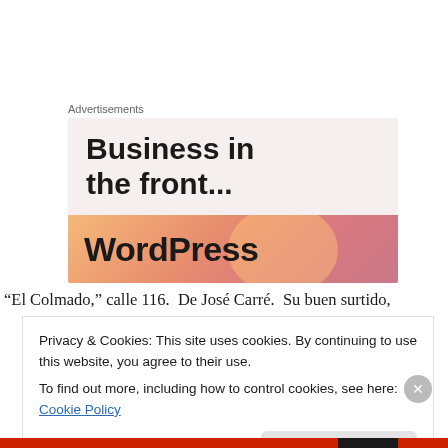Advertisements
[Figure (screenshot): Advertisement banner showing 'Business in the front...' text on light background with WordPress logo on an orange/pink gradient banner below]
“El Colmado,” calle 116.  De José Carré.  Su buen surtido,
Privacy & Cookies: This site uses cookies. By continuing to use this website, you agree to their use.
To find out more, including how to control cookies, see here: Cookie Policy
Close and accept